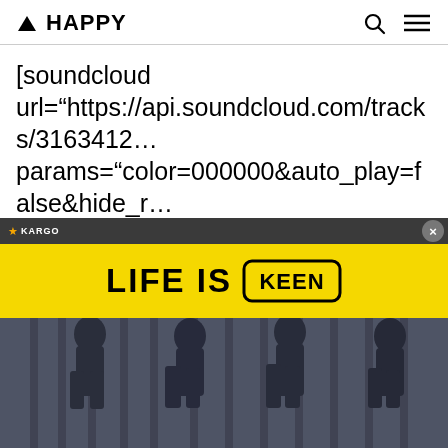▲ HAPPY
[soundcloud url="https://api.soundcloud.com/tracks/3163412... params="color=000000&auto_play=false&hide_r... width="100%" height="166" iframe="true" /]
[Figure (other): Advertisement overlay: KARGO label bar with close button, yellow banner reading LIFE IS KEEN (Keen footwear logo)]
[Figure (photo): Dark moody photo of silhouetted figures standing against vertical bars/railings, appearing upside down or reflected]